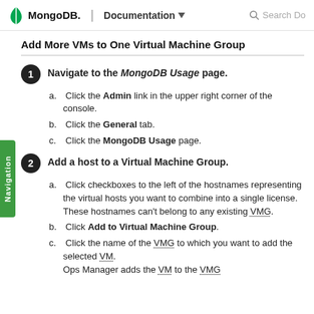MongoDB. | Documentation  Search Do
Add More VMs to One Virtual Machine Group
1. Navigate to the MongoDB Usage page.
a. Click the Admin link in the upper right corner of the console.
b. Click the General tab.
c. Click the MongoDB Usage page.
2. Add a host to a Virtual Machine Group.
a. Click checkboxes to the left of the hostnames representing the virtual hosts you want to combine into a single license. These hostnames can't belong to any existing VMG.
b. Click Add to Virtual Machine Group.
c. Click the name of the VMG to which you want to add the selected VM. Ops Manager adds the VM to the VMG